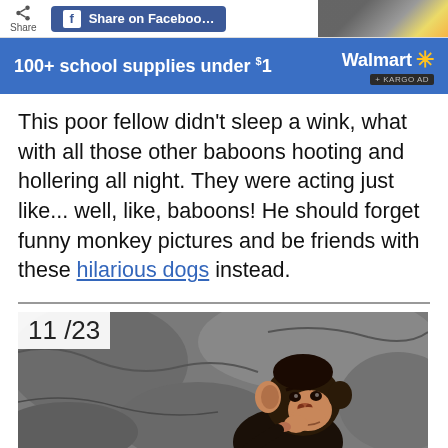[Figure (screenshot): Top navigation bar showing Share icon and Facebook share button, with partial school supplies image in top right]
[Figure (screenshot): Walmart advertisement banner: '100+ school supplies under $1' with Walmart logo and Kargo Ad tag]
This poor fellow didn't sleep a wink, what with all those other baboons hooting and hollering all night. They were acting just like... well, like, baboons! He should forget funny monkey pictures and be friends with these hilarious dogs instead.
[Figure (photo): Photo of a young chimpanzee sitting among rocks, with slide counter showing 11/23 in upper left corner]